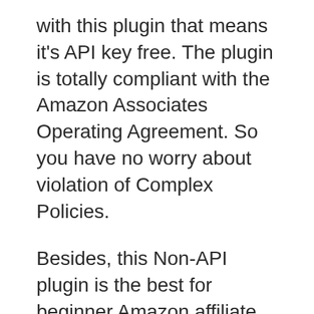with this plugin that means it's API key free. The plugin is totally compliant with the Amazon Associates Operating Agreement. So you have no worry about violation of Complex Policies.
Besides, this Non-API plugin is the best for beginner Amazon affiliate marketers. Because its easy customizing features work without API keys.
There are lots of features that you can apply to niche affiliate sites. Most of the popular features are Insert text & Image links, call-to-action buttons, and product showcases. You can add the product showcase anywhere on your blog